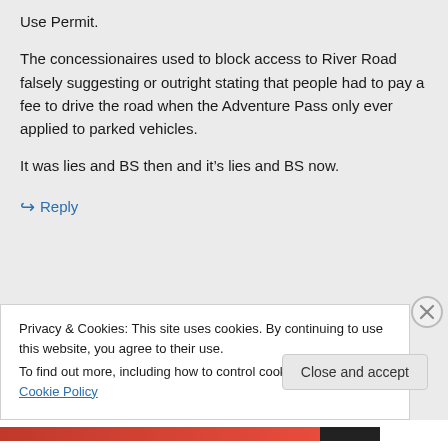Use Permit.
The concessionaires used to block access to River Road falsely suggesting or outright stating that people had to pay a fee to drive the road when the Adventure Pass only ever applied to parked vehicles.
It was lies and BS then and it’s lies and BS now.
↳ Reply
Privacy & Cookies: This site uses cookies. By continuing to use this website, you agree to their use.
To find out more, including how to control cookies, see here: Cookie Policy
Close and accept